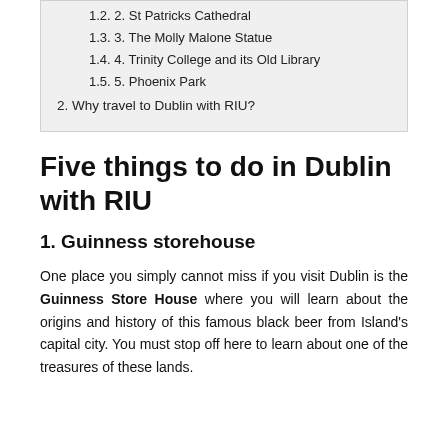1.2. 2. St Patricks Cathedral
1.3. 3. The Molly Malone Statue
1.4. 4. Trinity College and its Old Library
1.5. 5. Phoenix Park
2. Why travel to Dublin with RIU?
Five things to do in Dublin with RIU
1. Guinness storehouse
One place you simply cannot miss if you visit Dublin is the Guinness Store House where you will learn about the origins and history of this famous black beer from Island's capital city. You must stop off here to learn about one of the treasures of these lands.